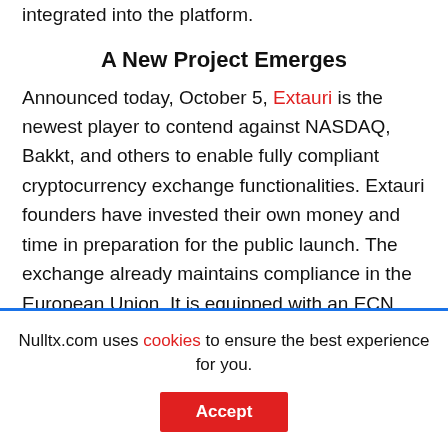integrated into the platform.
A New Project Emerges
Announced today, October 5, Extauri is the newest player to contend against NASDAQ, Bakkt, and others to enable fully compliant cryptocurrency exchange functionalities. Extauri founders have invested their own money and time in preparation for the public launch. The exchange already maintains compliance in the European Union. It is equipped with an ECN license, has approval from FMA and BaFin, and adheres to the standards of
Nulltx.com uses cookies to ensure the best experience for you.
Accept